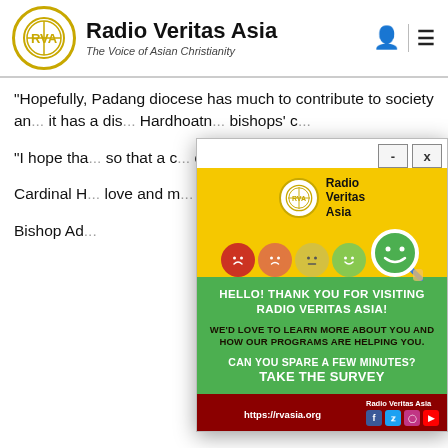Radio Veritas Asia — The Voice of Asian Christianity
"Hopefully, Padang diocese has much to contribute to society an... it has a dis... Hardhoatn... bishops' c...
"I hope tha... so that a c... cultivated ... said.
Cardinal H... love and m...
Bishop Ad...
[Figure (screenshot): Modal popup overlay on Radio Veritas Asia website. Yellow top section with RVA logo and five emoji faces (red frown, orange frown, neutral, light green smile, large green smile with magnifying glass). Green middle section with text: HELLO! THANK YOU FOR VISITING RADIO VERITAS ASIA! WE'D LOVE TO LEARN MORE ABOUT YOU AND HOW OUR PROGRAMS ARE HELPING YOU. CAN YOU SPARE A FEW MINUTES? TAKE THE SURVEY. Dark red footer bar with https://rvasia.org and social media icons.]